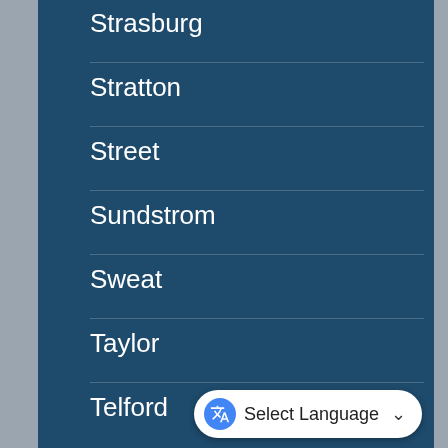Strasburg
Stratton
Street
Sundstrom
Sweat
Taylor
Telford
Terry
Thompson